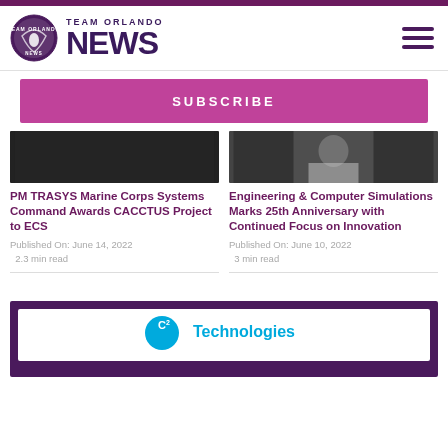TEAM ORLANDO NEWS
SUBSCRIBE
[Figure (photo): Article thumbnail image - dark photo]
PM TRASYS Marine Corps Systems Command Awards CACCTUS Project to ECS
Published On: June 14, 2022
2.3 min read
[Figure (photo): Article thumbnail image - person in white shirt]
Engineering & Computer Simulations Marks 25th Anniversary with Continued Focus on Innovation
Published On: June 10, 2022
3 min read
[Figure (logo): C2 Technologies logo]